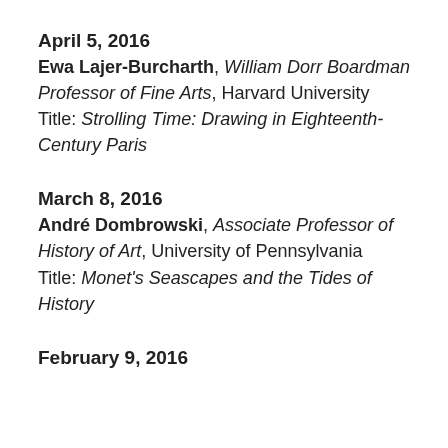April 5, 2016
Ewa Lajer-Burcharth, William Dorr Boardman Professor of Fine Arts, Harvard University
Title: Strolling Time: Drawing in Eighteenth-Century Paris
March 8, 2016
André Dombrowski, Associate Professor of History of Art, University of Pennsylvania
Title: Monet's Seascapes and the Tides of History
February 9, 2016